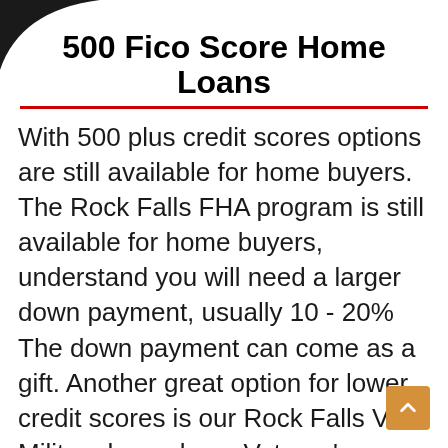500 Fico Score Home Loans
With 500 plus credit scores options are still available for home buyers. The Rock Falls FHA program is still available for home buyers, understand you will need a larger down payment, usually 10 - 20% The down payment can come as a gift. Another great option for lower credit scores is our Rock Falls VA Military home loan. Veteran’s can qualify with a 500 plus credit score.  Keep in mind a 500 plus credit score is a higher risk for lenders, this means it will be underwritten manually by an